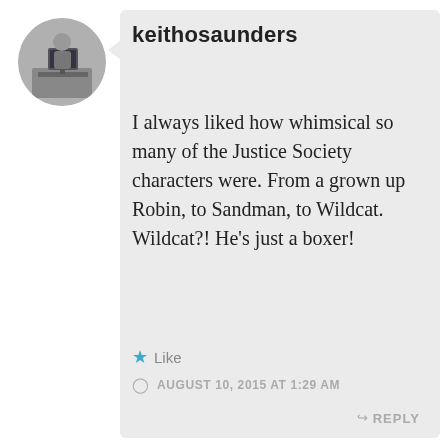[Figure (photo): Circular avatar photo of a person sitting at a computer/desk, black and white or muted tones]
keithosaunders
I always liked how whimsical so many of the Justice Society characters were. From a grown up Robin, to Sandman, to Wildcat. Wildcat?! He's just a boxer!
★ Like
AUGUST 10, 2015 AT 1:29 AM
↳ REPLY